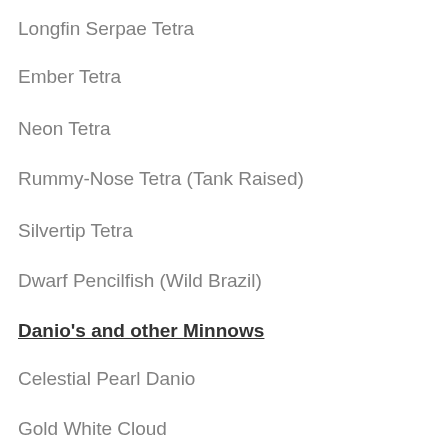Longfin Serpae Tetra
Ember Tetra
Neon Tetra
Rummy-Nose Tetra (Tank Raised)
Silvertip Tetra
Dwarf Pencilfish (Wild Brazil)
Danio's and other Minnows
Celestial Pearl Danio
Gold White Cloud
Rasboras